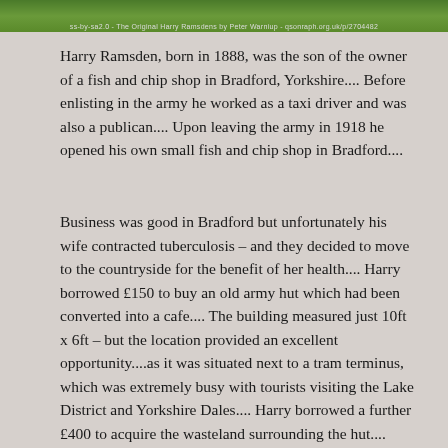[Figure (photo): Banner image showing green grass/countryside scene at the top of the page, with a caption overlay text reading: ss-by-sa2.0 - The Original Harry Ramsdens by Peter Warniup - qsonraph.org.uk/p/2704482]
Harry Ramsden, born in 1888, was the son of the owner of a fish and chip shop in Bradford, Yorkshire.... Before enlisting in the army he worked as a taxi driver and was also a publican.... Upon leaving the army in 1918 he opened his own small fish and chip shop in Bradford....
Business was good in Bradford but unfortunately his wife contracted tuberculosis – and they decided to move to the countryside for the benefit of her health.... Harry borrowed £150 to buy an old army hut which had been converted into a cafe.... The building measured just 10ft x 6ft – but the location provided an excellent opportunity....as it was situated next to a tram terminus, which was extremely busy with tourists visiting the Lake District and Yorkshire Dales.... Harry borrowed a further £400 to acquire the wasteland surrounding the hut....